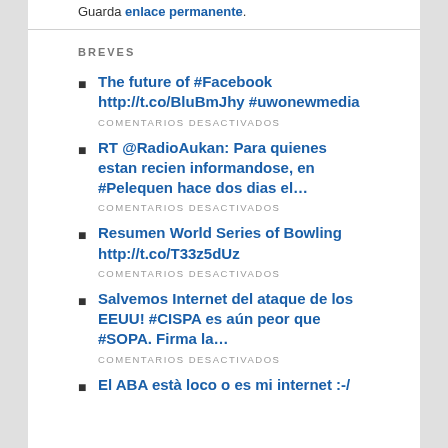Guarda enlace permanente.
BREVES
The future of #Facebook http://t.co/BluBmJhy #uwonewmedia
COMENTARIOS DESACTIVADOS
RT @RadioAukan: Para quienes estan recien informandose, en #Pelequen hace dos dias el…
COMENTARIOS DESACTIVADOS
Resumen World Series of Bowling http://t.co/T33z5dUz
COMENTARIOS DESACTIVADOS
Salvemos Internet del ataque de los EEUU! #CISPA es aún peor que #SOPA. Firma la…
COMENTARIOS DESACTIVADOS
El ABA està loco o es mi internet :-/